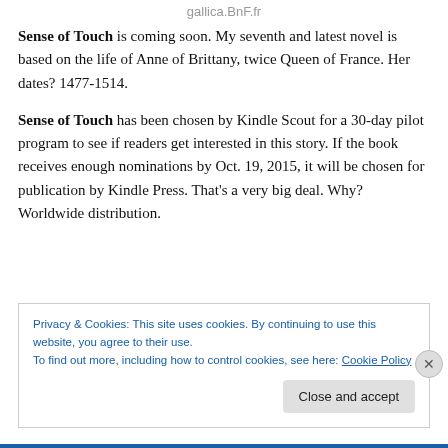gallica.BnF.fr
Sense of Touch is coming soon. My seventh and latest novel is based on the life of Anne of Brittany, twice Queen of France. Her dates? 1477-1514.
Sense of Touch has been chosen by Kindle Scout for a 30-day pilot program to see if readers get interested in this story. If the book receives enough nominations by Oct. 19, 2015, it will be chosen for publication by Kindle Press. That's a very big deal. Why? Worldwide distribution.
Privacy & Cookies: This site uses cookies. By continuing to use this website, you agree to their use.
To find out more, including how to control cookies, see here: Cookie Policy
Close and accept